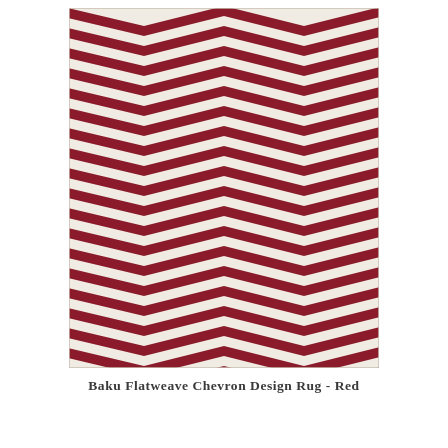[Figure (photo): A red and cream/white flatweave chevron design rug. The rug displays a repeating zigzag (chevron) pattern in deep red/crimson color against an off-white background, viewed from above showing the full length of the rug.]
Baku Flatweave Chevron Design Rug - Red